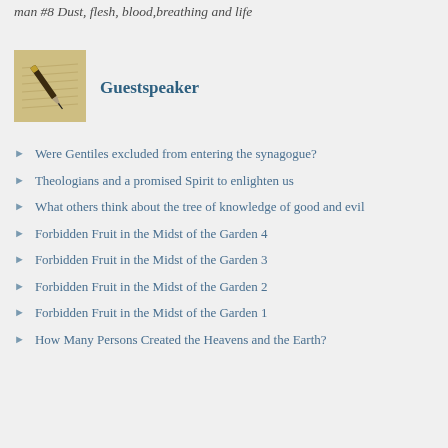man #8 Dust, flesh, blood, breathing and life
[Figure (photo): Photo of a pen on handwritten paper]
Guestspeaker
Were Gentiles excluded from entering the synagogue?
Theologians and a promised Spirit to enlighten us
What others think about the tree of knowledge of good and evil
Forbidden Fruit in the Midst of the Garden 4
Forbidden Fruit in the Midst of the Garden 3
Forbidden Fruit in the Midst of the Garden 2
Forbidden Fruit in the Midst of the Garden 1
How Many Persons Created the Heavens and the Earth?